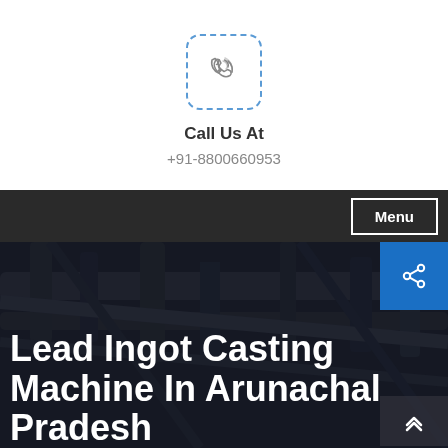[Figure (logo): Phone/call icon inside a dashed rounded square border]
Call Us At
+91-8800660953
Menu
[Figure (photo): Industrial factory interior with pipes and machinery, dark overlay]
Lead Ingot Casting Machine In Arunachal Pradesh